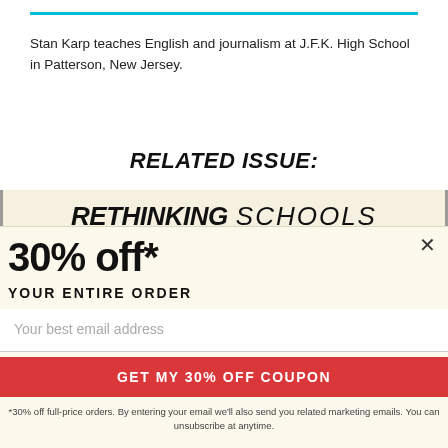Stan Karp teaches English and journalism at J.F.K. High School in Patterson, New Jersey.
RELATED ISSUE:
[Figure (logo): Rethinking Schools logo banner with bold italic text on cream background]
30% off*
YOUR ENTIRE ORDER
Your best email address
GET MY 30% OFF COUPON
*30% off full-price orders. By entering your email we'll also send you related marketing emails. You can unsubscribe at anytime.